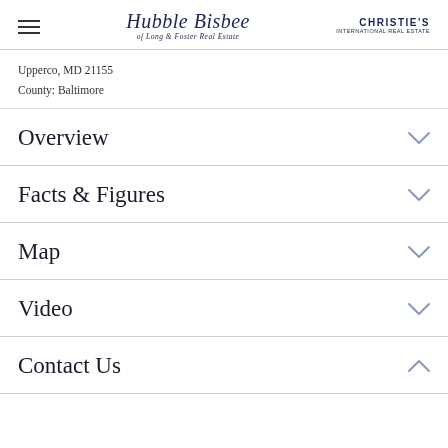Hubble Bisbee of Long & Foster Real Estate | Christie's International Real Estate
Upperco, MD 21155
County: Baltimore
Overview
Facts & Figures
Map
Video
Contact Us